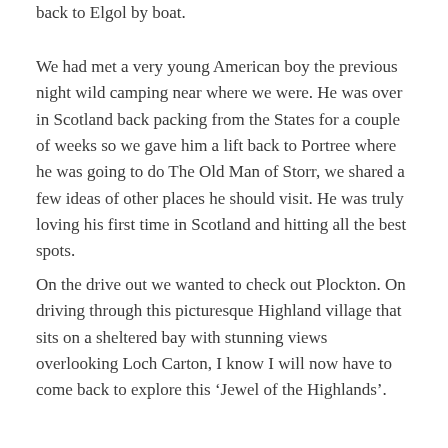back to Elgol by boat.
We had met a very young American boy the previous night wild camping near where we were. He was over in Scotland back packing from the States for a couple of weeks so we gave him a lift back to Portree where he was going to do The Old Man of Storr, we shared a few ideas of other places he should visit. He was truly loving his first time in Scotland and hitting all the best spots.
On the drive out we wanted to check out Plockton. On driving through this picturesque Highland village that sits on a sheltered bay with stunning views overlooking Loch Carton, I know I will now have to come back to explore this ‘Jewel of the Highlands’.